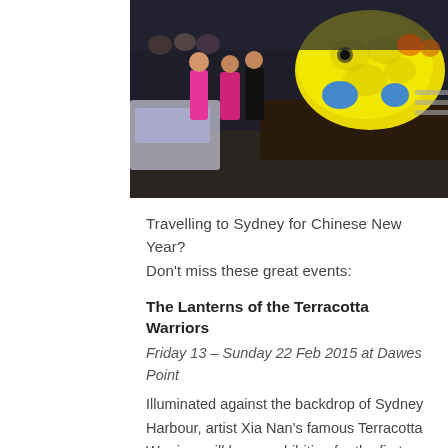[Figure (photo): Street parade photo showing people in bright pink shirts walking alongside a large yellow inflatable fish/dragon float on a dark platform, with crowds watching behind barriers. Night-time festival scene.]
Travelling to Sydney for Chinese New Year? Don't miss these great events:
The Lanterns of the Terracotta Warriors
Friday 13 – Sunday 22 Feb 2015 at Dawes Point
Illuminated against the backdrop of Sydney Harbour, artist Xia Nan's famous Terracotta Warriors will be on exhibition for the first time in Australia. Be captivated by the spectacle of 90 x 2.1 metre high warriors and two horses glowing in brilliant colours against the country's most iconic harbour.